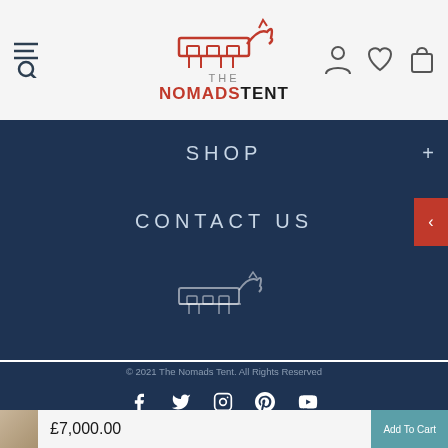[Figure (logo): The Nomads Tent logo — stylized geometric animal icon in red outline with THE NOMADSTENT text below in red and black]
SHOP
CONTACT US
[Figure (logo): The Nomads Tent white outline logo icon centered in dark blue footer area]
© 2021 The Nomads Tent. All Rights Reserved
[Figure (infographic): Social media icons row: Facebook, Twitter, Instagram, Pinterest, YouTube — all white on dark blue background]
[Figure (infographic): Payment method logos: VISA, MasterCard, American Express, Apple Pay, G Pay, Shopify Secure]
£7,000.00
Add To Cart